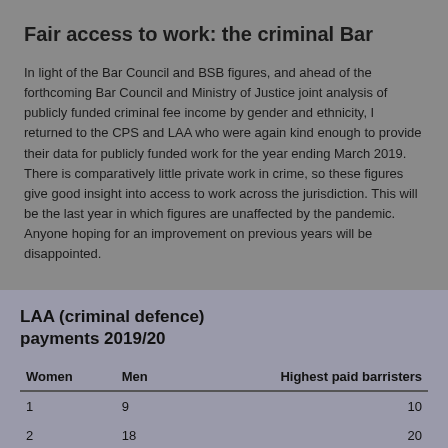Fair access to work: the criminal Bar
In light of the Bar Council and BSB figures, and ahead of the forthcoming Bar Council and Ministry of Justice joint analysis of publicly funded criminal fee income by gender and ethnicity, I returned to the CPS and LAA who were again kind enough to provide their data for publicly funded work for the year ending March 2019. There is comparatively little private work in crime, so these figures give good insight into access to work across the jurisdiction. This will be the last year in which figures are unaffected by the pandemic. Anyone hoping for an improvement on previous years will be disappointed.
| Women | Men | Highest paid barristers |
| --- | --- | --- |
| 1 | 9 | 10 |
| 2 | 18 | 20 |